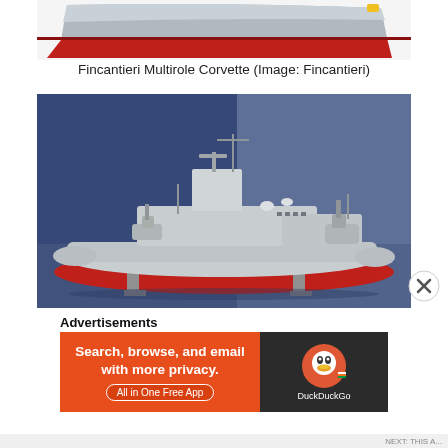[Figure (photo): Top portion of a Fincantieri Multirole Corvette ship hull rendered in gray and red, 3D CAD model view from the side showing the hull above and below waterline.]
Fincantieri Multirole Corvette (Image: Fincantieri)
[Figure (photo): Physical scale model of the Fincantieri Multirole Corvette displayed on a stand against a blue background. The model is gray and shows detailed superstructure, masts, weapons systems, and a red hull.]
Advertisements
[Figure (infographic): DuckDuckGo advertisement banner: left side orange with text 'Search, browse, and email with more privacy. All in One Free App'; right side dark with DuckDuckGo logo.]